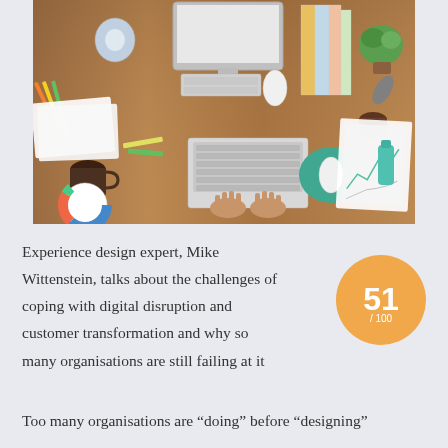[Figure (photo): Overhead view of a busy wooden desk with multiple people working, featuring keyboards, a computer monitor, stationery, books, coffee cups, plants, and various office items]
Experience design expert, Mike Wittenstein, talks about the challenges of coping with digital disruption and customer transformation and why so many organisations are still failing at it
[Figure (infographic): Orange circle badge showing score 51 out of 100]
Too many organisations are “doing” before “designing”